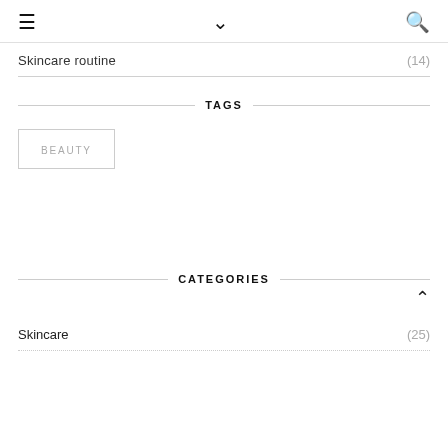≡  ∨  🔍
Skincare routine (14)
TAGS
BEAUTY
CATEGORIES
Skincare (25)